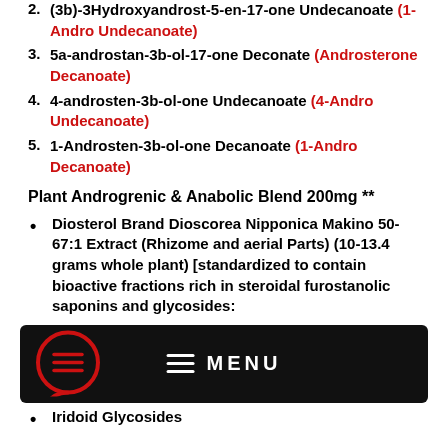2. (3b)-3Hydroxyandrost-5-en-17-one Undecanoate (1-Andro Undecanoate)
3. 5a-androstan-3b-ol-17-one Deconate (Androsterone Decanoate)
4. 4-androsten-3b-ol-one Undecanoate (4-Andro Undecanoate)
5. 1-Androsten-3b-ol-one Decanoate (1-Andro Decanoate)
Plant Androgrenic & Anabolic Blend 200mg **
Diosterol Brand Dioscorea Nipponica Makino 50-67:1 Extract (Rhizome and aerial Parts) (10-13.4 grams whole plant) [standardized to contain bioactive fractions rich in steroidal furostanolic saponins and glycosides:
[Figure (screenshot): Black navigation bar with chat bubble icon on left and hamburger menu lines with MENU text in white on dark background]
Iridoid Glycosides